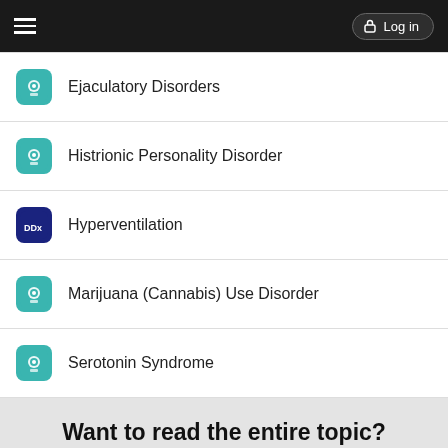Log in
Ejaculatory Disorders
Histrionic Personality Disorder
Hyperventilation
Marijuana (Cannabis) Use Disorder
Serotonin Syndrome
Want to read the entire topic?
Purchase a subscription
I'm already a subscriber
Browse sample topics